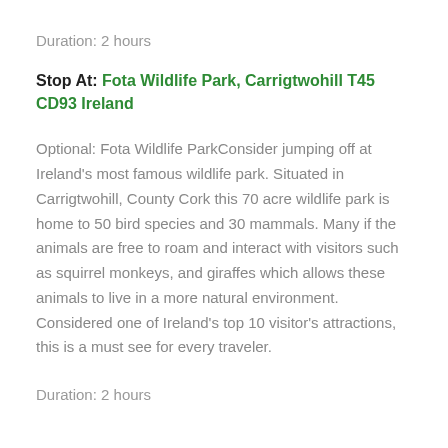Duration: 2 hours
Stop At: Fota Wildlife Park, Carrigtwohill T45 CD93 Ireland
Optional: Fota Wildlife ParkConsider jumping off at Ireland’s most famous wildlife park. Situated in Carrigtwohill, County Cork this 70 acre wildlife park is home to 50 bird species and 30 mammals. Many if the animals are free to roam and interact with visitors such as squirrel monkeys, and giraffes which allows these animals to live in a more natural environment. Considered one of Ireland’s top 10 visitor’s attractions, this is a must see for every traveler.
Duration: 2 hours